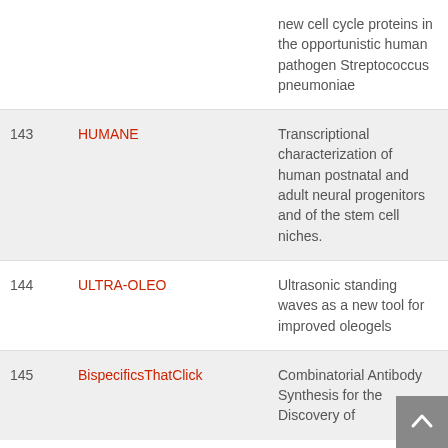| # | Project | Description |
| --- | --- | --- |
|  |  | new cell cycle proteins in the opportunistic human pathogen Streptococcus pneumoniae |
| 143 | HUMANE | Transcriptional characterization of human postnatal and adult neural progenitors and of the stem cell niches. |
| 144 | ULTRA-OLEO | Ultrasonic standing waves as a new tool for improved oleogels |
| 145 | BispecificsThatClick | Combinatorial Antibody Synthesis for the Discovery of |